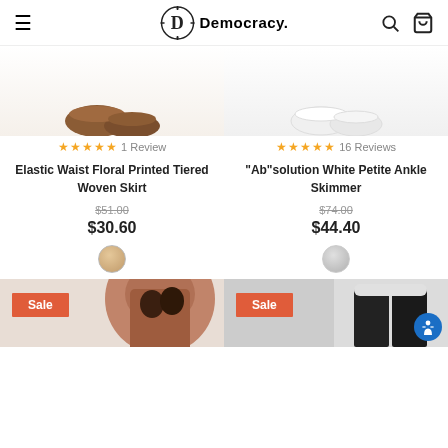Democracy
[Figure (photo): Product image partial view - shoes/accessories for Elastic Waist Floral Printed Tiered Woven Skirt]
★★★★★ 1 Review
Elastic Waist Floral Printed Tiered Woven Skirt
$51.00
$30.60
[Figure (photo): Color swatch - beige]
[Figure (photo): Product image partial view - white sneakers for Ab solution White Petite Ankle Skimmer]
★★★★★ 16 Reviews
"Ab"solution White Petite Ankle Skimmer
$74.00
$44.40
[Figure (photo): Color swatch - gray]
[Figure (photo): Sale product - woman with curly hair, Sale badge]
[Figure (photo): Sale product - black pants, Sale badge]